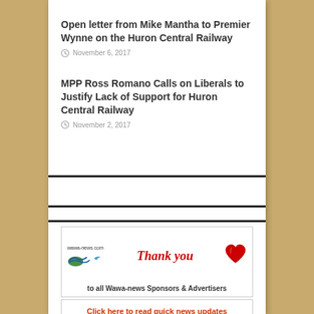Open letter from Mike Mantha to Premier Wynne on the Huron Central Railway
November 6, 2017
MPP Ross Romano Calls on Liberals to Justify Lack of Support for Huron Central Railway
November 2, 2017
[Figure (other): Thank you banner ad for Wawa-news.com with logo, red cursive Thank you text, red heart graphic, and text 'to all Wawa-news Sponsors & Advertisers']
[Figure (other): Banner ad with text 'Click here to read quick news updates' and red italic bold text 'Weather & Roads' with a bird graphic]